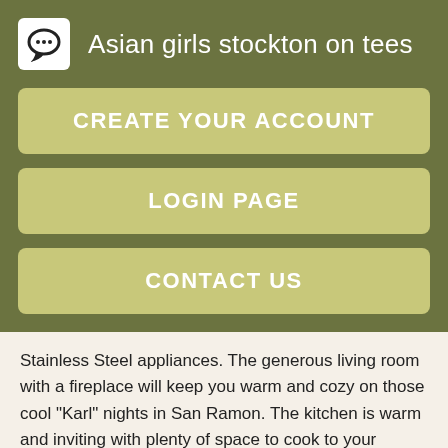Asian girls stockton on tees
CREATE YOUR ACCOUNT
LOGIN PAGE
CONTACT US
Stainless Steel appliances. The generous living room with a fireplace will keep you warm and cozy on those cool "Karl" nights in San Ramon. The kitchen is warm and inviting with plenty of space to cook to your heart's content. Move right into this charming townhome-style condo located in the desirable Oak Creek at Greystone Ranch community on the west side of San Ramon!
Attached three car garage with large storage area. Many energy